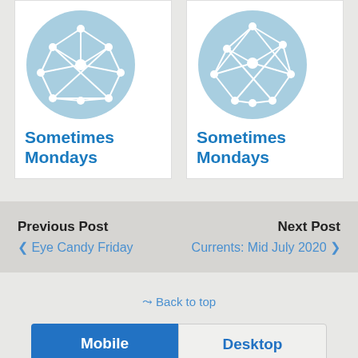[Figure (illustration): Two circular network graph icons on light blue backgrounds, each above a card with the title 'Sometimes Mondays']
Sometimes Mondays
Sometimes Mondays
Previous Post
❮ Eye Candy Friday
Next Post
Currents: Mid July 2020 ❯
✰ Back to top
Mobile
Desktop